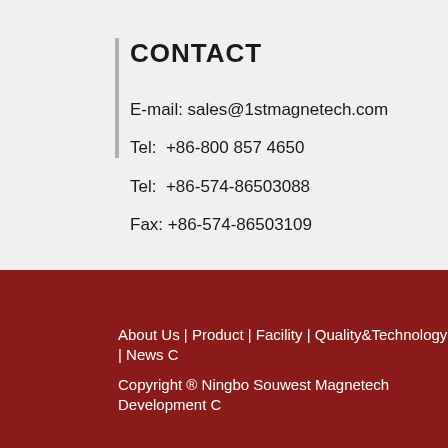CONTACT
E-mail: sales@1stmagnetech.com
Tel:  +86-800 857 4650
Tel:  +86-574-86503088
Fax:  +86-574-86503109
About Us | Product | Facility | Quality&Technology | News C
Copyright ® Ningbo Souwest Magnetech Development C